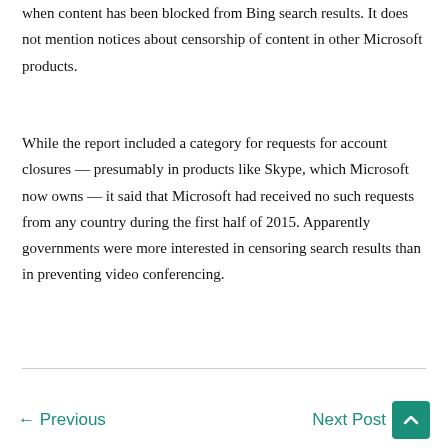when content has been blocked from Bing search results. It does not mention notices about censorship of content in other Microsoft products.
While the report included a category for requests for account closures — presumably in products like Skype, which Microsoft now owns — it said that Microsoft had received no such requests from any country during the first half of 2015. Apparently governments were more interested in censoring search results than in preventing video conferencing.
← Previous    Next Post